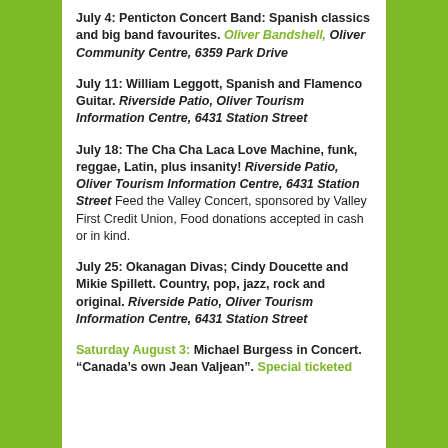July 4: Penticton Concert Band: Spanish classics and big band favourites. Oliver Bandshell, Oliver Community Centre, 6359 Park Drive
July 11: William Leggott, Spanish and Flamenco Guitar. Riverside Patio, Oliver Tourism Information Centre, 6431 Station Street
July 18: The Cha Cha Laca Love Machine, funk, reggae, Latin, plus insanity! Riverside Patio, Oliver Tourism Information Centre, 6431 Station Street Feed the Valley Concert, sponsored by Valley First Credit Union, Food donations accepted in cash or in kind.
July 25: Okanagan Divas; Cindy Doucette and Mikie Spillett. Country, pop, jazz, rock and original. Riverside Patio, Oliver Tourism Information Centre, 6431 Station Street
Saturday August 3: Michael Burgess in Concert. “Canada’s own Jean Valjean”. Special ticketed